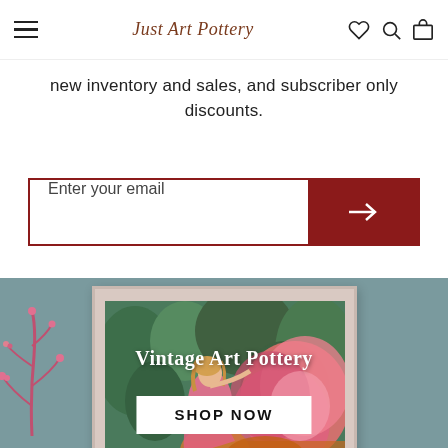Just Art Pottery
new inventory and sales, and subscriber only discounts.
Enter your email
[Figure (photo): Framed artistic painting of a figure in pink dress among flowers and foliage, displayed on a teal/grey wall with a pink branch decoration to the left. Overlay text reads 'Vintage Art Pottery' with a 'SHOP NOW' button.]